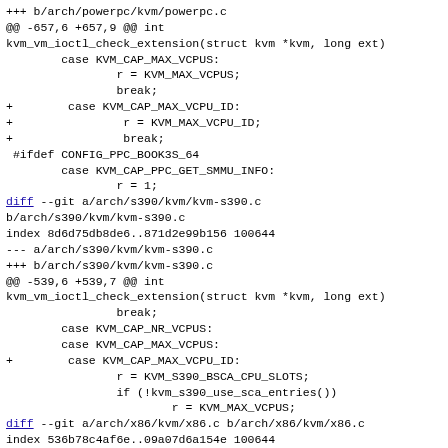+++ b/arch/powerpc/kvm/powerpc.c
@@ -657,6 +657,9 @@ int
kvm_vm_ioctl_check_extension(struct kvm *kvm, long ext)
        case KVM_CAP_MAX_VCPUS:
                r = KVM_MAX_VCPUS;
                break;
+        case KVM_CAP_MAX_VCPU_ID:
+                r = KVM_MAX_VCPU_ID;
+                break;
 #ifdef CONFIG_PPC_BOOK3S_64
        case KVM_CAP_PPC_GET_SMMU_INFO:
                r = 1;
diff --git a/arch/s390/kvm/kvm-s390.c
b/arch/s390/kvm/kvm-s390.c
index 8d6d75db8de6..871d2e99b156 100644
--- a/arch/s390/kvm/kvm-s390.c
+++ b/arch/s390/kvm/kvm-s390.c
@@ -539,6 +539,7 @@ int
kvm_vm_ioctl_check_extension(struct kvm *kvm, long ext)
                break;
        case KVM_CAP_NR_VCPUS:
        case KVM_CAP_MAX_VCPUS:
+        case KVM_CAP_MAX_VCPU_ID:
                r = KVM_S390_BSCA_CPU_SLOTS;
                if (!kvm_s390_use_sca_entries())
                        r = KVM_MAX_VCPUS;
diff --git a/arch/x86/kvm/x86.c b/arch/x86/kvm/x86.c
index 536b78c4af6e..09a07d6a154e 100644
--- a/arch/x86/kvm/x86.c
+++ b/arch/x86/kvm/x86.c
@@ -8130,6 +8130,8 @@ int